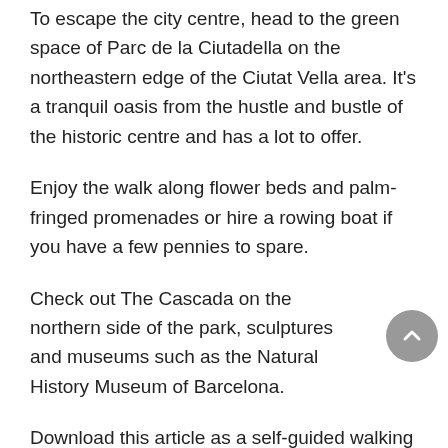To escape the city centre, head to the green space of Parc de la Ciutadella on the northeastern edge of the Ciutat Vella area. It's a tranquil oasis from the hustle and bustle of the historic centre and has a lot to offer.
Enjoy the walk along flower beds and palm-fringed promenades or hire a rowing boat if you have a few pennies to spare.
Check out The Cascada on the northern side of the park, sculptures and museums such as the Natural History Museum of Barcelona.
Download this article as a self-guided walking tour on your smartphone. Check out our